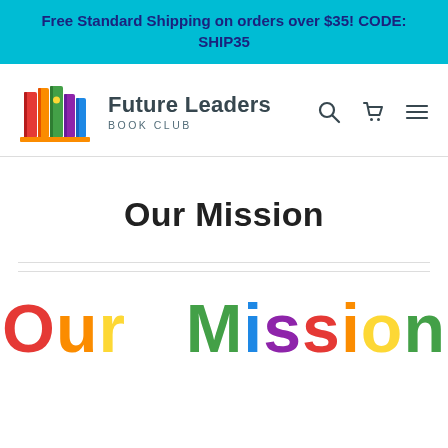Free Standard Shipping on orders over $35! CODE: SHIP35
[Figure (logo): Future Leaders Book Club logo with colorful books icon and text]
Our Mission
[Figure (illustration): Colorful 'Our Mission' text in rainbow colors partially visible at the bottom of the page]